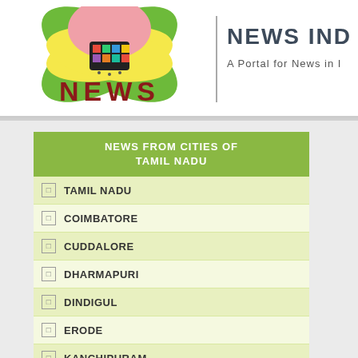[Figure (logo): News India portal logo with colorful flower/TV graphic and 'NEWS' text in dark red]
NEWS IND
A Portal for News in I
NEWS FROM CITIES OF TAMIL NADU
TAMIL NADU
COIMBATORE
CUDDALORE
DHARMAPURI
DINDIGUL
ERODE
KANCHIPURAM